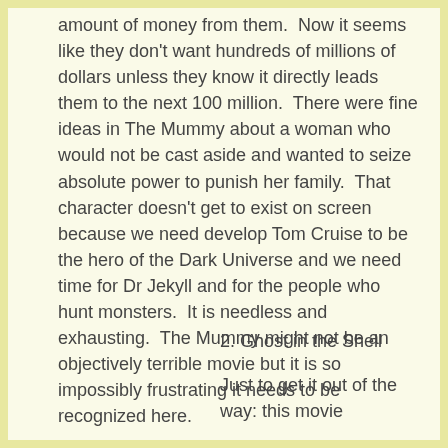amount of money from them.  Now it seems like they don't want hundreds of millions of dollars unless they know it directly leads them to the next 100 million.  There were fine ideas in The Mummy about a woman who would not be cast aside and wanted to seize absolute power to punish her family.  That character doesn't get to exist on screen because we need develop Tom Cruise to be the hero of the Dark Universe and we need time for Dr Jekyll and for the people who hunt monsters.  It is needless and exhausting.  The Mummy might not be an objectively terrible movie but it is so impossibly frustrating it needs to be recognized here.
2. Ghost in the Shell
Just to get it out of the way: this movie